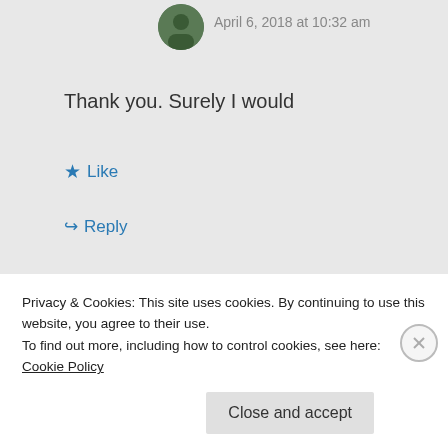April 6, 2018 at 10:32 am
Thank you. Surely I would
★ Like
↳ Reply
Grace Okezie
April 6, 2018 at
Privacy & Cookies: This site uses cookies. By continuing to use this website, you agree to their use.
To find out more, including how to control cookies, see here: Cookie Policy
Close and accept